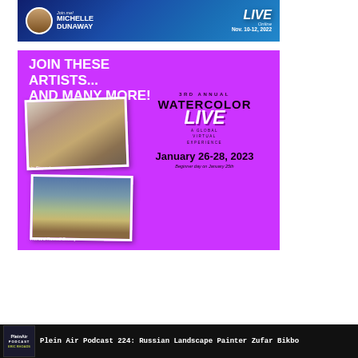[Figure (illustration): Michelle Dunaway art event banner with blue gradient background, portrait photo, 'Join me! MICHELLE DUNAWAY LIVE Online Nov. 10-12, 2022' text]
[Figure (illustration): Purple banner: 'JOIN THESE ARTISTS... AND MANY MORE!' with two watercolor paintings by Iain Stewart and Richard Russell Sneary, and 3rd Annual Watercolor Live logo with dates January 26-28, 2023, Beginner day on January 25th]
[Figure (illustration): Plein Air Podcast episode thumbnail with dark background and logo]
Plein Air Podcast 224: Russian Landscape Painter Zufar Bikbo